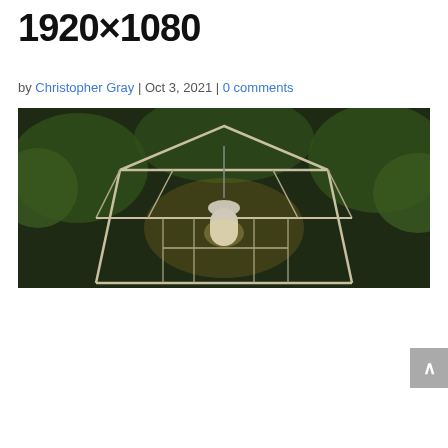1920×1080
by Christopher Gray | Oct 3, 2021 | 0 comments
[Figure (photo): Dark photo of a glass gazebo or lantern structure with a pendant light hanging inside, surrounded by trees with greenish foliage at night]
THIS WEBSITE USES SOME COOKIES. PLEASE ACCEPT TO CONTINUE WITH THE BEST INTERFACE.
We use cookies on our website to give you the most relevant experience by remembering your preferences and repeat visits. By clicking "Accept All", you consent to the use of ALL the cookies. However, you may visit "Cookie Settings" to provide a controlled consent.
Cookie Settings   Accept All   Translate »